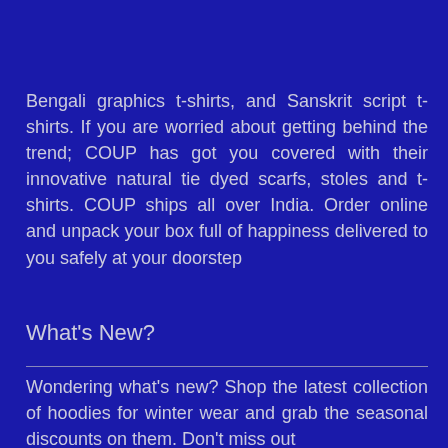Bengali graphics t-shirts, and Sanskrit script t-shirts. If you are worried about getting behind the trend; COUP has got you covered with their innovative natural tie dyed scarfs, stoles and t-shirts. COUP ships all over India. Order online and unpack your box full of happiness delivered to you safely at your doorstep
What's New?
Wondering what's new? Shop the latest collection of hoodies for winter wear and grab the seasonal discounts on them. Don't miss out on the latest t-shirt collection and grab...